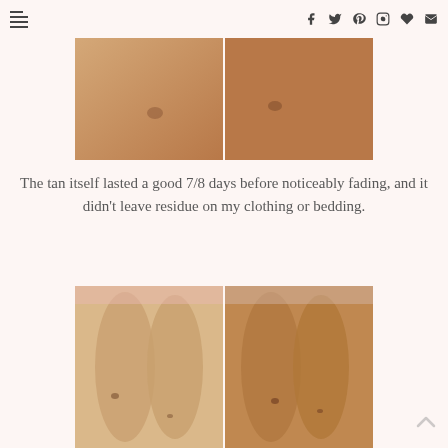Navigation and social icons header
[Figure (photo): Two side-by-side close-up photos of skin showing tan color comparison — left image shows lighter skin tone, right image shows darker/more tanned skin tone]
The tan itself lasted a good 7/8 days before noticeably fading, and it didn't leave residue on my clothing or bedding.
[Figure (photo): Two side-by-side photos of legs lying on a bed — left image shows lighter legs before tan, right image shows darker tanned legs after application]